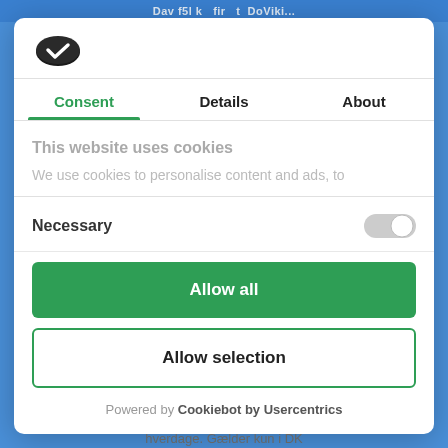[Figure (screenshot): Cookie consent modal dialog with Cookiebot logo, Consent/Details/About tabs, cookie notice text, toggle for Necessary cookies, Allow all button, Allow selection button, and Powered by Cookiebot by Usercentrics footer]
Consent   Details   About
This website uses cookies
We use cookies to personalise content and ads, to
Necessary
Allow all
Allow selection
Powered by Cookiebot by Usercentrics
hverdage. Gælder kun i DK